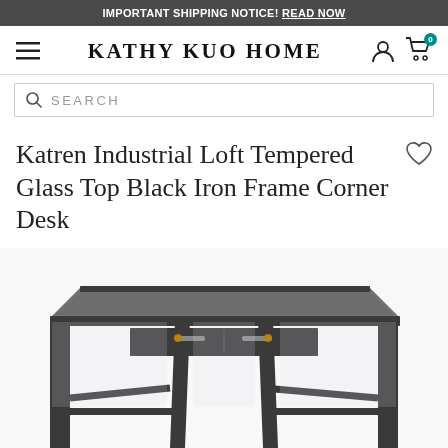IMPORTANT SHIPPING NOTICE! READ NOW
[Figure (screenshot): Kathy Kuo Home website navigation bar with hamburger menu, logo, user icon, and cart icon showing badge 0]
[Figure (screenshot): Search bar with magnifying glass icon and SEARCH placeholder text]
Katren Industrial Loft Tempered Glass Top Black Iron Frame Corner Desk
SKU#: 098366
[Figure (photo): Corner desk with black iron frame and tempered glass top, viewed from above at an angle showing the frame structure, cross supports, and drawer pulls]